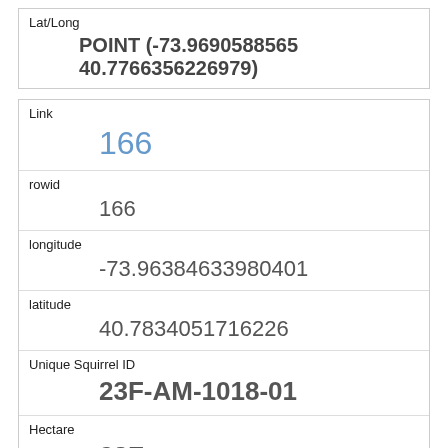| Field | Value |
| --- | --- |
| Lat/Long | POINT (-73.9690588565 40.7766356226979) |
| Link | 166 |
| rowid | 166 |
| longitude | -73.96384633980401 |
| latitude | 40.7834051716226 |
| Unique Squirrel ID | 23F-AM-1018-01 |
| Hectare | 23F |
| Shift | AM |
| Date | 10182018 |
| Hectare Squirrel Number |  |